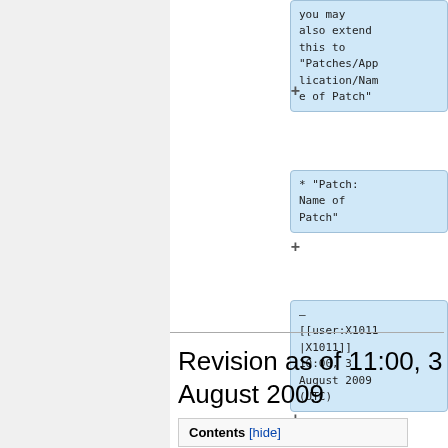you may also extend this to "Patches/Application/Name of Patch"
* "Patch: Name of Patch"
–
[[user:X1011|X1011]]
10:00, 3 August 2009 (UTC)
Revision as of 11:00, 3 August 2009
Contents [hide]